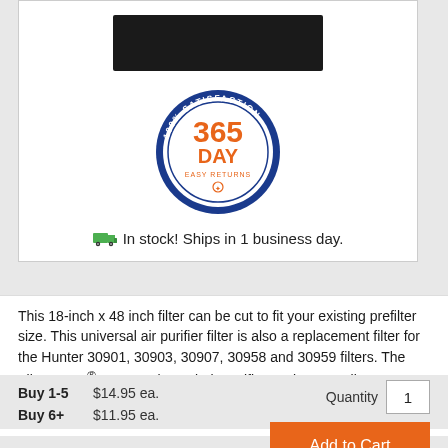[Figure (photo): Black carbon prefilter product image (cropped top portion)]
[Figure (logo): 365 Day 100% Satisfaction Guaranteed Easy Returns badge — circular blue border with orange text]
In stock! Ships in 1 business day.
This 18-inch x 48 inch filter can be cut to fit your existing prefilter size. This universal air purifier filter is also a replacement filter for the Hunter 30901, 30903, 30907, 30958 and 30959 filters. The Filters Fast®14ALL Universal Air Purifier Carbon PreFilter Cut to Fit is an odor reducing carbon prefilter designed to fit most portable air cleaners.
| Buy 1-5 | $14.95 ea. |
| Buy 6+ | $11.95 ea. |
Quantity  1
Add to Cart